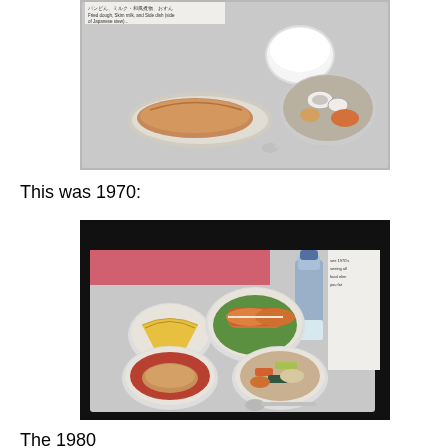[Figure (photo): School lunch tray from an earlier era showing bread/roll on a plate, a cup of milk, a bowl with squid and other Japanese side dishes, and a spoon on a metal tray. Japanese text label visible at top.]
This was 1970:
[Figure (photo): 1970 school lunch tray showing a slice of melon on a plate, a plate with fried food rolls on lettuce, a bowl with red sauce and bread roll, a bowl with stir-fried vegetables (carrots, green vegetables, bamboo shoots), a tall bottle of milk, and a spoon on a metal tray. Text label visible at right side.]
The 1980